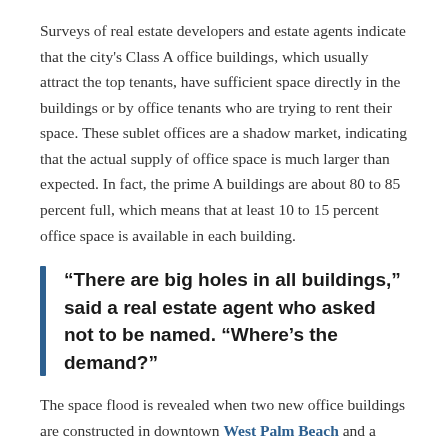Surveys of real estate developers and estate agents indicate that the city's Class A office buildings, which usually attract the top tenants, have sufficient space directly in the buildings or by office tenants who are trying to rent their space. These sublet offices are a shadow market, indicating that the actual supply of office space is much larger than expected. In fact, the prime A buildings are about 80 to 85 percent full, which means that at least 10 to 15 percent office space is available in each building.
“There are big holes in all buildings,” said a real estate agent who asked not to be named. “Where’s the demand?”
The space flood is revealed when two new office buildings are constructed in downtown West Palm Beach and a third tower is due to be approved by a